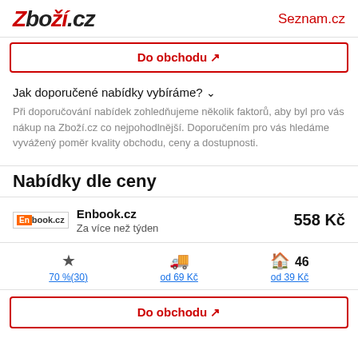Zboží.cz | Seznam.cz
Do obchodu ↗
Jak doporučené nabídky vybíráme? ∨
Při doporučování nabídek zohledňujeme několik faktorů, aby byl pro vás nákup na Zboží.cz co nejpohodlnější. Doporučením pro vás hledáme vyvážený poměr kvality obchodu, ceny a dostupnosti.
Nabídky dle ceny
| Obchod | Dostupnost | Cena |
| --- | --- | --- |
| Enbook.cz | Za více než týden | 558 Kč |
70 %(30) | od 69 Kč | 46 od 39 Kč
Do obchodu ↗